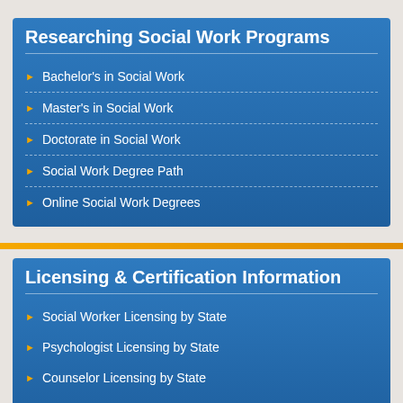Researching Social Work Programs
Bachelor's in Social Work
Master's in Social Work
Doctorate in Social Work
Social Work Degree Path
Online Social Work Degrees
Licensing & Certification Information
Social Worker Licensing by State
Psychologist Licensing by State
Counselor Licensing by State
Therapist Licensing by State